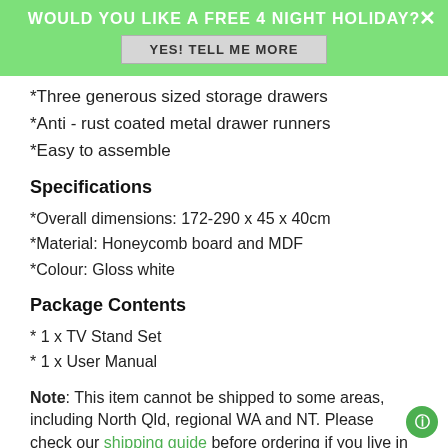WOULD YOU LIKE A FREE 4 NIGHT HOLIDAY? YES! TELL ME MORE
*Three generous sized storage drawers
*Anti - rust coated metal drawer runners
*Easy to assemble
Specifications
*Overall dimensions: 172-290 x 45 x 40cm
*Material: Honeycomb board and MDF
*Colour: Gloss white
Package Contents
* 1 x TV Stand Set
* 1 x User Manual
Note: This item cannot be shipped to some areas, including North Qld, regional WA and NT. Please check our shipping guide before ordering if you live in these